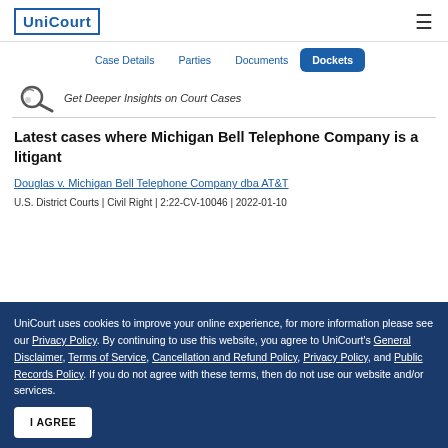UniCourt
Case Details | Parties | Documents | Dockets
[Figure (illustration): Decorative illustration of a figure with magnifying glass next to text 'Get Deeper Insights on Court Cases']
Latest cases where Michigan Bell Telephone Company is a litigant
Douglas v. Michigan Bell Telephone Company dba AT&T
U.S. District Courts | Civil Right | 2:22-CV-10046 | 2022-01-10
UniCourt uses cookies to improve your online experience, for more information please see our Privacy Policy. By continuing to use this website, you agree to UniCourt's General Disclaimer, Terms of Service, Cancellation and Refund Policy, Privacy Policy, and Public Records Policy. If you do not agree with these terms, then do not use our website and/or services.
I AGREE